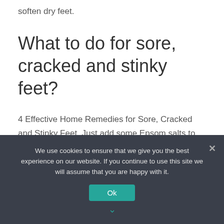soften dry feet.
What to do for sore, cracked and stinky feet?
4 Effective Home Remedies for Sore, Cracked and Stinky Feet. Just add some Epsom salts to warm water and soak for about 15 minutes. Afterwards, dry your feet very well and apply lotion. The warm salt water bath is great when used along with petroleum jelly. After you finish soaking, dry your feet and add the Vaseline and a clean pair of socks.
We use cookies to ensure that we give you the best experience on our website. If you continue to use this site we will assume that you are happy with it.